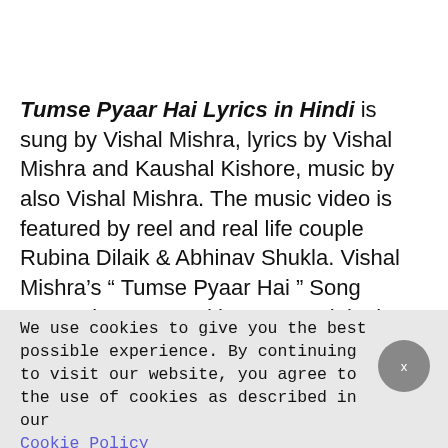Tumse Pyaar Hai Lyrics in Hindi is sung by Vishal Mishra, lyrics by Vishal Mishra and Kaushal Kishore, music by also Vishal Mishra. The music video is featured by reel and real life couple Rubina Dilaik & Abhinav Shukla. Vishal Mishra's “ Tumse Pyaar Hai ” Song Teaser is presented by VYRL originals music company.
We use cookies to give you the best possible experience. By continuing to visit our website, you agree to the use of cookies as described in our Cookie Policy